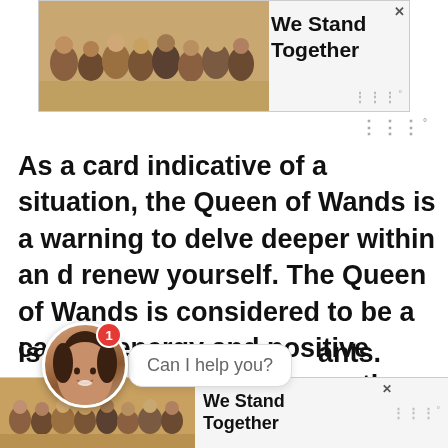[Figure (illustration): Top advertisement banner with image of people standing together arm-in-arm (viewed from behind) and text 'We Stand Together' with a close X button and Wellio watermark]
As a card indicative of a situation, the Queen of Wands is a warning to delve deeper within and renew yourself. The Queen of Wands is considered to be a card of energy and positive mo... (partially obscured) ...re, in reverse, the Queen of Wands indicates that the situation is ...ants.
[Figure (illustration): Chat widget with circular avatar of a woman, red notification badge showing 1, and a speech bubble saying 'Can I help you?']
[Figure (illustration): Bottom advertisement banner with same 'We Stand Together' imagery, close button, and Wellio watermark]